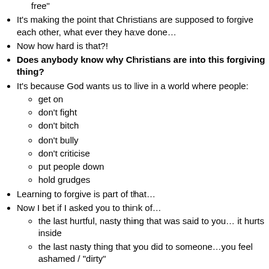free"
It's making the point that Christians are supposed to forgive each other, what ever they have done…
Now how hard is that?!
Does anybody know why Christians are into this forgiving thing?
It's because God wants us to live in a world where people:
get on
don't fight
don't bitch
don't bully
don't criticise
put people down
hold grudges
Learning to forgive is part of that…
Now I bet if I asked you to think of…
the last hurtful, nasty thing that was said to you… it hurts inside
the last nasty thing that you did to someone…you feel ashamed / "dirty"
Now we many not admit it, but we all carry this around in our head
It's what the Bible call's sin
Stuff that people have done to us, we've done to